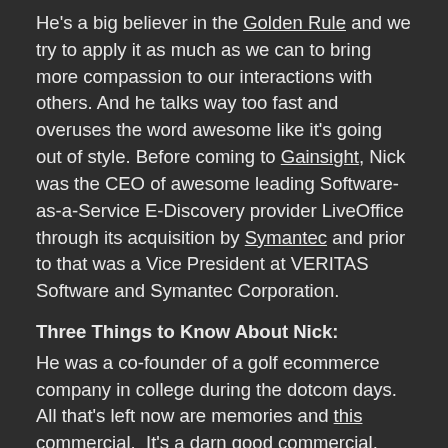He's a big believer in the Golden Rule and we try to apply it as much as we can to bring more compassion to our interactions with others. And he talks way too fast and overuses the word awesome like it's going out of style. Before coming to Gainsight, Nick was the CEO of awesome leading Software-as-a-Service E-Discovery provider LiveOffice through its acquisition by Symantec and prior to that was a Vice President at VERITAS Software and Symantec Corporation.
Three Things to Know About Nick:
He was a co-founder of a golf ecommerce company in college during the dotcom days.  All that's left now are memories and this commercial.  It's a darn good commercial. CEOing was his "safety job" after his first dream of playing for the Pittsburgh Steelers fell through, mostly due to lack of any physical talent whatsoever and utter clumsiness.  But he did make the Bill Simmons Football Mailbag once! Because of their football obsession, he and his wife